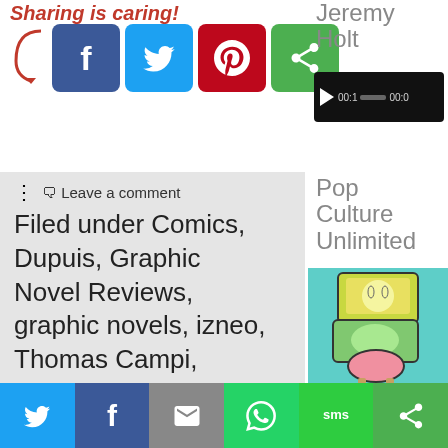Sharing is caring!
[Figure (screenshot): Four social share buttons: Facebook (blue), Twitter (light blue), Pinterest (red), green circular share button]
Jeremy Holt
[Figure (screenshot): Audio player widget with play button, time 00:1, progress bar, 00:0]
Leave a comment
Filed under Comics, Dupuis, Graphic Novel Reviews, graphic novels, izneo, Thomas Campi, Vincent Zabus
Tagged as Bande
Pop Culture Unlimited
[Figure (illustration): Illustration of stacked quirky TV/screen characters with legs, on teal background]
[Figure (screenshot): Bottom share bar with Twitter, Facebook, Email, WhatsApp, SMS, and green share buttons]